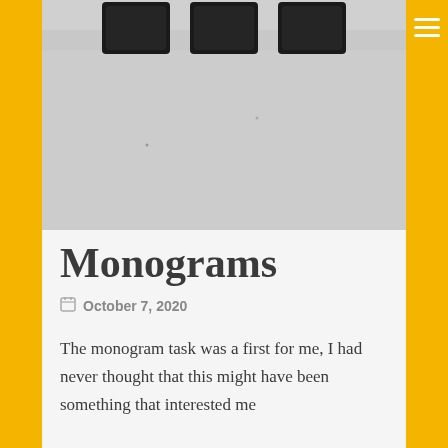[Figure (photo): Photograph showing three dark/black monogram pieces on a light gray background, viewed from above. The monograms are arranged in a row at the top of the image.]
Monograms
October 7, 2020
The monogram task was a first for me, I had never thought that this might have been something that interested me